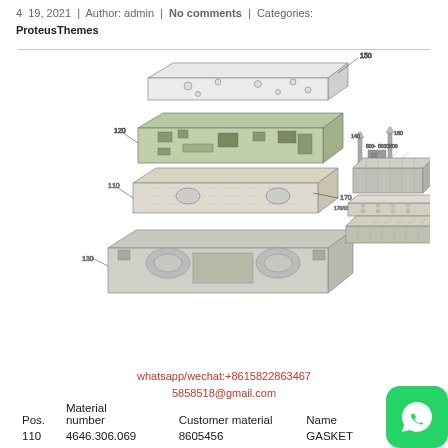4  19, 2021  |  Author: admin  |  No comments  |  Categories: ProteusThemes
[Figure (engineering-diagram): Exploded view engineering diagram showing layered mechanical assembly components including plates, gaskets, and screws with part number callouts (110, 120, 130, 140, 150, 160, 170, etc.) and a secondary exploded sub-assembly view to the right with bolts and a finned heat-sink type block.]
whatsapp/wechat:+8615822863467
5858518@gmail.com
| Pos. | Material
number | Customer material | Name |
| --- | --- | --- | --- |
| 110 | 4646.306.069 | 8605456 | GASKET |
| 120 | 4646.306.070 | T195054 | DUCT PLATE |
| 130 | 4646.306.066 | VOE14516374 | GASKET |
| 140 | 9726.101.499 | VOE14537963 | TORXSCREW |